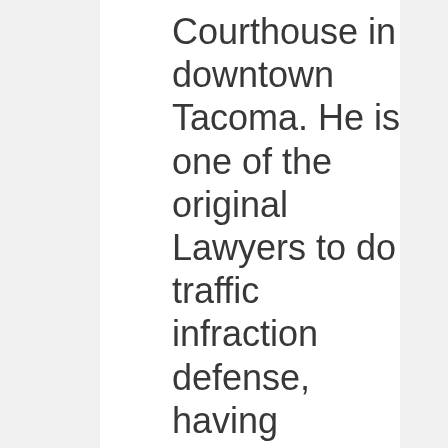Courthouse in downtown Tacoma. He is one of the original Lawyers to do traffic infraction defense, having defended people accused of Speeding tickets over the last 25 years.